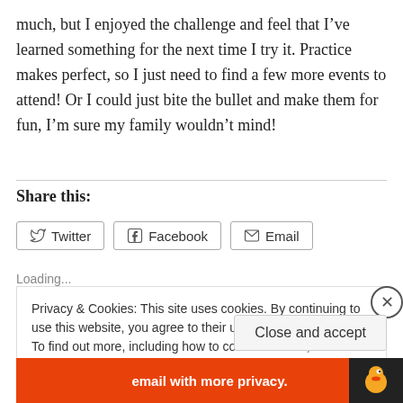much, but I enjoyed the challenge and feel that I've learned something for the next time I try it. Practice makes perfect, so I just need to find a few more events to attend! Or I could just bite the bullet and make them for fun, I'm sure my family wouldn't mind!
Share this:
[Figure (screenshot): Social share buttons for Twitter, Facebook, and Email]
Loading...
Privacy & Cookies: This site uses cookies. By continuing to use this website, you agree to their use. To find out more, including how to control cookies, see here: Cookie Policy
Close and accept
email with more privacy.